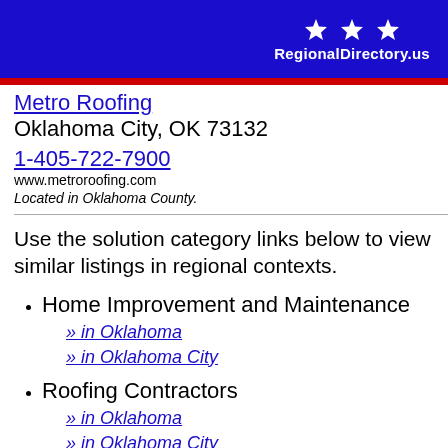RegionalDirectory.us
Metro Roofing
Oklahoma City, OK 73132
1-405-722-7900
www.metroroofing.com
Located in Oklahoma County.
Use the solution category links below to view similar listings in regional contexts.
Home Improvement and Maintenance
» in Oklahoma
» in Oklahoma City
Roofing Contractors
» in Oklahoma
» in Oklahoma City
Siding Contractors
» in Oklahoma